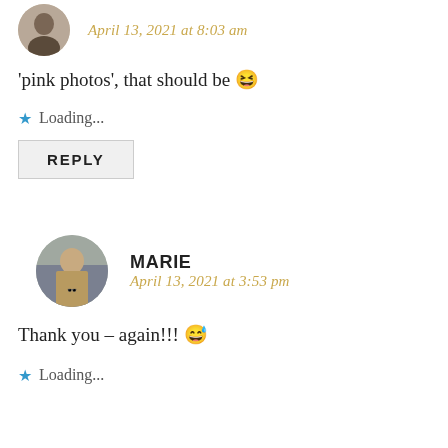April 13, 2021 at 8:03 am
'pink photos', that should be 😆
Loading...
REPLY
MARIE
April 13, 2021 at 3:53 pm
Thank you – again!!! 😅
Loading...